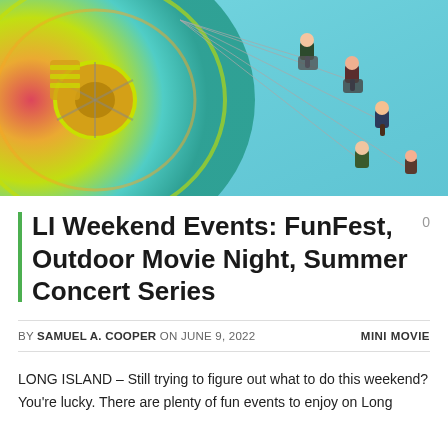[Figure (photo): Aerial view of a colorful carnival chain-swing ride with people swinging outward against a teal/blue sky background. The carousel is visible on the left with bright colors, and several riders are suspended on chains across the image.]
LI Weekend Events: FunFest, Outdoor Movie Night, Summer Concert Series
BY SAMUEL A. COOPER ON JUNE 9, 2022   MINI MOVIE
LONG ISLAND – Still trying to figure out what to do this weekend? You're lucky. There are plenty of fun events to enjoy on Long